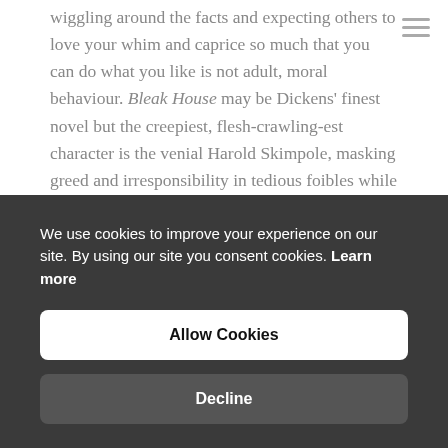wiggling around the facts and expecting others to love your whim and caprice so much that you can do what you like is not adult, moral behaviour. Bleak House may be Dickens' finest novel but the creepiest, flesh-crawling-est character is the venial Harold Skimpole, masking greed and irresponsibility in tedious foibles while fleecing his friends and abandoning his dependents.
It's not for me to say what must be done on the national stage (though you might guess what I think), but I refer you to previous messages. Schools are where society looks after its young until they're old enough to take on the mantle of adult citizenship. All adults are role models to the young, and the
We use cookies to improve your experience on our site. By using our site you consent cookies. Learn more
Allow Cookies
Decline